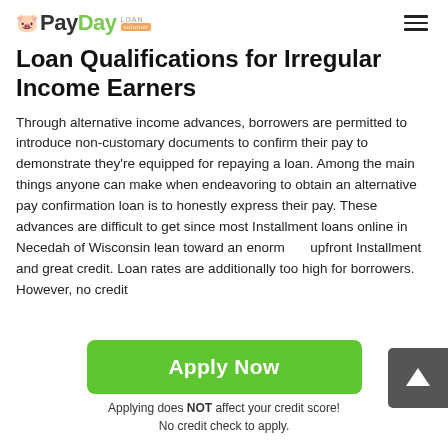PayDay Loan Solution
Loan Qualifications for Irregular Income Earners
Through alternative income advances, borrowers are permitted to introduce non-customary documents to confirm their pay to demonstrate they're equipped for repaying a loan. Among the main things anyone can make when endeavoring to obtain an alternative pay confirmation loan is to honestly express their pay. These advances are difficult to get since most Installment loans online in Necedah of Wisconsin lean toward an enormous upfront Installment and great credit. Loan rates are additionally too high for borrowers. However, no credit
[Figure (other): Green Apply Now button]
Applying does NOT affect your credit score!
No credit check to apply.